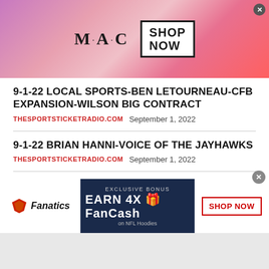[Figure (photo): M·A·C cosmetics advertisement banner with lipsticks in purple, pink, and red shades, MAC logo, and SHOP NOW button]
9-1-22 LOCAL SPORTS-BEN LETOURNEAU-CFB EXPANSION-WILSON BIG CONTRACT
THESPORTSTICKETRADIO.COM  September 1, 2022
9-1-22 BRIAN HANNI-VOICE OF THE JAYHAWKS
THESPORTSTICKETRADIO.COM  September 1, 2022
[Figure (infographic): Fanatics advertisement: EXCLUSIVE BONUS EARN 4X FanCash on NFL Hoodies with SHOP NOW button]